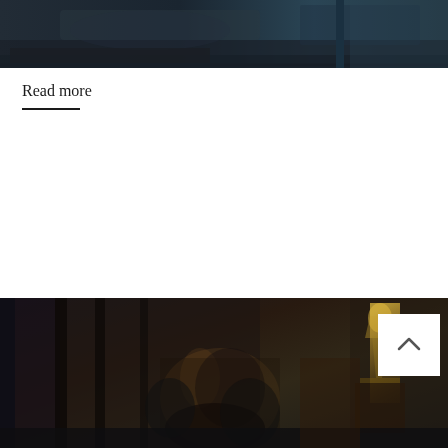[Figure (photo): Dark moody photo showing what appears to be a sleek dark surface with gold/teal tones, partial view of a room or vehicle interior]
Read more
BLESS YOU
Fit in old age – How Julianne Moore stays in shape
[Figure (photo): Photo of Julianne Moore with red hair, wearing a gold/yellow embroidered outfit, posing with a black panther sculpture in an elegant dark interior setting. A white scroll-to-top button overlay is visible in the lower right.]